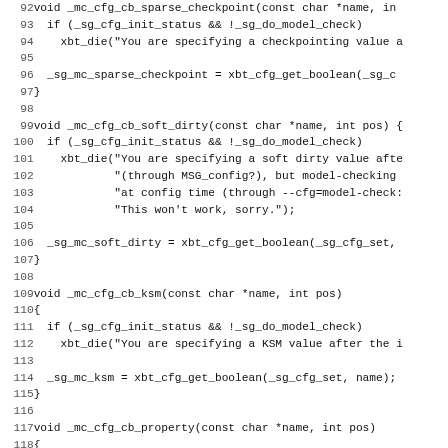[Figure (screenshot): Source code listing in monospace font showing C functions: _mc_cfg_cb_sparse_checkpoint, _mc_cfg_cb_soft_dirty, _mc_cfg_cb_ksm, and _mc_cfg_cb_property, with line numbers 92-124.]